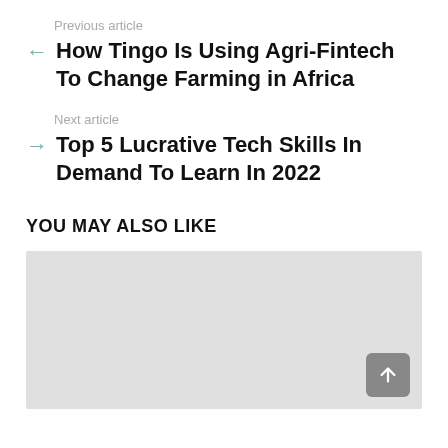Previous article
← How Tingo Is Using Agri-Fintech To Change Farming in Africa
Next article
→ Top 5 Lucrative Tech Skills In Demand To Learn In 2022
YOU MAY ALSO LIKE
[Figure (photo): Placeholder image area (gray box) with scroll-to-top button in bottom right corner]